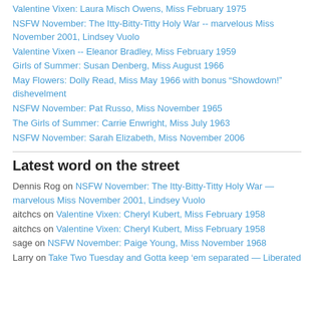Valentine Vixen: Laura Misch Owens, Miss February 1975
NSFW November: The Itty-Bitty-Titty Holy War -- marvelous Miss November 2001, Lindsey Vuolo
Valentine Vixen -- Eleanor Bradley, Miss February 1959
Girls of Summer: Susan Denberg, Miss August 1966
May Flowers: Dolly Read, Miss May 1966 with bonus "Showdown!" dishevelment
NSFW November: Pat Russo, Miss November 1965
The Girls of Summer: Carrie Enwright, Miss July 1963
NSFW November: Sarah Elizabeth, Miss November 2006
Latest word on the street
Dennis Rog on NSFW November: The Itty-Bitty-Titty Holy War — marvelous Miss November 2001, Lindsey Vuolo
aitchcs on Valentine Vixen: Cheryl Kubert, Miss February 1958
aitchcs on Valentine Vixen: Cheryl Kubert, Miss February 1958
sage on NSFW November: Paige Young, Miss November 1968
Larry on Take Two Tuesday and Gotta keep 'em separated — Liberated